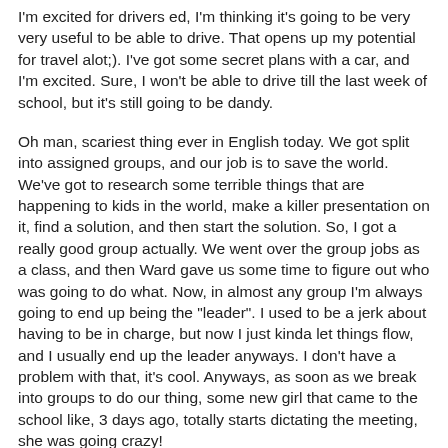I'm excited for drivers ed, I'm thinking it's going to be very very useful to be able to drive. That opens up my potential for travel alot;). I've got some secret plans with a car, and I'm excited. Sure, I won't be able to drive till the last week of school, but it's still going to be dandy.
Oh man, scariest thing ever in English today. We got split into assigned groups, and our job is to save the world. We've got to research some terrible things that are happening to kids in the world, make a killer presentation on it, find a solution, and then start the solution. So, I got a really good group actually. We went over the group jobs as a class, and then Ward gave us some time to figure out who was going to do what. Now, in almost any group I'm always going to end up being the "leader". I used to be a jerk about having to be in charge, but now I just kinda let things flow, and I usually end up the leader anyways. I don't have a problem with that, it's cool. Anyways, as soon as we break into groups to do our thing, some new girl that came to the school like, 3 days ago, totally starts dictating the meeting, she was going crazy!
And I'm thinking "No way! That's my job, she can't be the